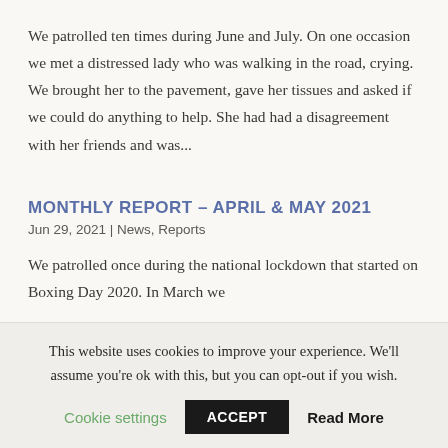We patrolled ten times during June and July. On one occasion we met a distressed lady who was walking in the road, crying. We brought her to the pavement, gave her tissues and asked if we could do anything to help. She had had a disagreement with her friends and was...
MONTHLY REPORT – APRIL & MAY 2021
Jun 29, 2021 | News, Reports
We patrolled once during the national lockdown that started on Boxing Day 2020. In March we
This website uses cookies to improve your experience. We'll assume you're ok with this, but you can opt-out if you wish.